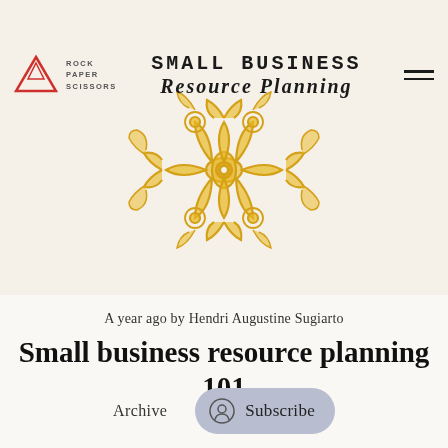SMALL BUSINESS RESOURCE PLANNING — Rock Paper Scissors
[Figure (illustration): Decorative golden mandala / ornamental circular pattern on cream background]
A year ago by Hendri Augustine Sugiarto
Small business resource planning 101
Archive
Subscribe